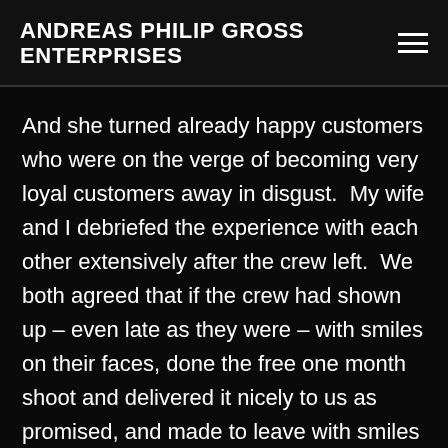ANDREAS PHILIP GROSS ENTERPRISES
And she turned already happy customers who were on the verge of becoming very loyal customers away in disgust.  My wife and I debriefed the experience with each other extensively after the crew left.  We both agreed that if the crew had shown up – even late as they were – with smiles on their faces, done the free one month shoot and delivered it nicely to us as promised, and made to leave with smiles on their faces and well-wishes to see us